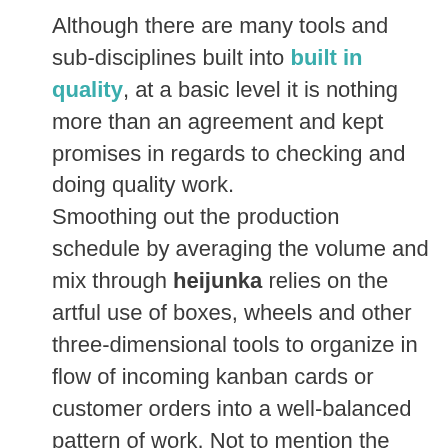Although there are many tools and sub-disciplines built into built in quality, at a basic level it is nothing more than an agreement and kept promises in regards to checking and doing quality work. Smoothing out the production schedule by averaging the volume and mix through heijunka relies on the artful use of boxes, wheels and other three-dimensional tools to organize in flow of incoming kanban cards or customer orders into a well-balanced pattern of work. Not to mention the work upfront by production control personnel to develop and maintain an algorithm, design products that fit within the existing demand or product complexity profiles, and the coordination with marketing and sales to be able